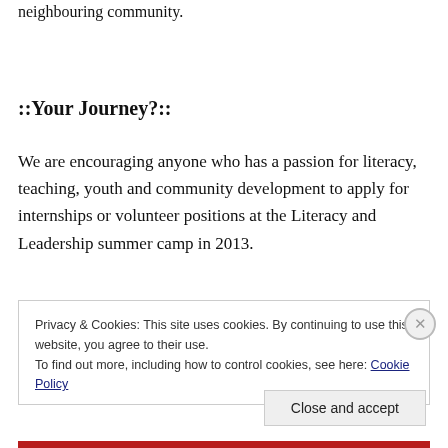neighbouring community.
::Your Journey?::
We are encouraging anyone who has a passion for literacy, teaching, youth and community development to apply for internships or volunteer positions at the Literacy and Leadership summer camp in 2013.
Privacy & Cookies: This site uses cookies. By continuing to use this website, you agree to their use.
To find out more, including how to control cookies, see here: Cookie Policy
Close and accept